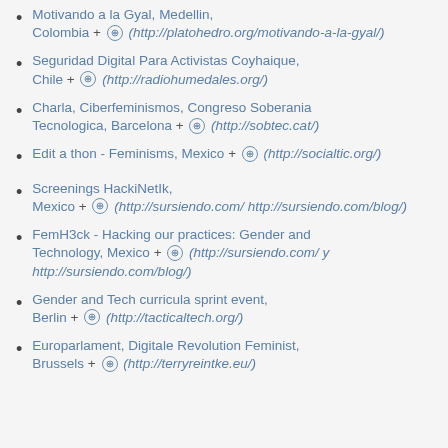Motivando a la Gyal, Medellin, Colombia + (http://platohedro.org/motivando-a-la-gyal/)
Seguridad Digital Para Activistas Coyhaique, Chile + (http://radiohumedales.org/)
Charla, Ciberfeminismos, Congreso Soberania Tecnologica, Barcelona + (http://sobtec.cat/)
Edit a thon - Feminisms, Mexico + (http://socialtic.org/)
Screenings HackiNetIk, Mexico + (http://sursiendo.com/ http://sursiendo.com/blog/)
FemH3ck - Hacking our practices: Gender and Technology, Mexico + (http://sursiendo.com/ y http://sursiendo.com/blog/)
Gender and Tech curricula sprint event, Berlin + (http://tacticaltech.org/)
Europarlament, Digitale Revolution Feminist, Brussels + (http://terryreintke.eu/)